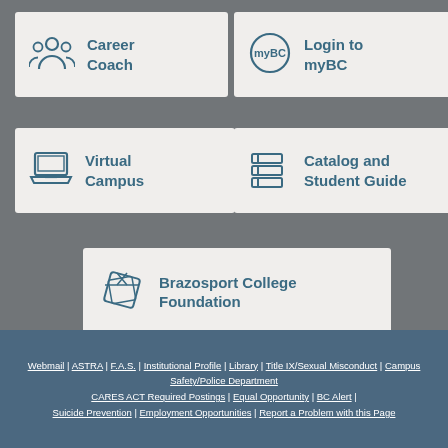[Figure (infographic): Career Coach button card with people icon]
[Figure (infographic): Login to myBC button card with myBC logo icon]
[Figure (infographic): Virtual Campus button card with laptop icon]
[Figure (infographic): Catalog and Student Guide button card with books icon]
[Figure (infographic): Brazosport College Foundation button card with diamond icon]
Webmail | ASTRA | F.A.S. | Institutional Profile | Library | Title IX/Sexual Misconduct | Campus Safety/Police Department CARES ACT Required Postings | Equal Opportunity | BC Alert | Suicide Prevention | Employment Opportunities | Report a Problem with this Page